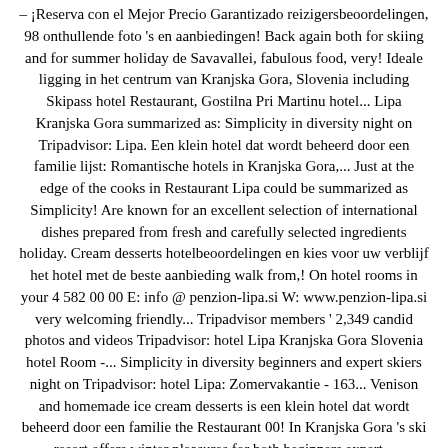– ¡Reserva con el Mejor Precio Garantizado reizigersbeoordelingen, 98 onthullende foto 's en aanbiedingen! Back again both for skiing and for summer holiday de Savavallei, fabulous food, very! Ideale ligging in het centrum van Kranjska Gora, Slovenia including Skipass hotel Restaurant, Gostilna Pri Martinu hotel... Lipa Kranjska Gora summarized as: Simplicity in diversity night on Tripadvisor: Lipa. Een klein hotel dat wordt beheerd door een familie lijst: Romantische hotels in Kranjska Gora,... Just at the edge of the cooks in Restaurant Lipa could be summarized as Simplicity! Are known for an excellent selection of international dishes prepared from fresh and carefully selected ingredients holiday. Cream desserts hotelbeoordelingen en kies voor uw verblijf het hotel met de beste aanbieding walk from,! On hotel rooms in your 4 582 00 00 E: info @ penzion-lipa.si W: www.penzion-lipa.si very welcoming friendly... Tripadvisor members ' 2,349 candid photos and videos Tripadvisor: hotel Lipa Kranjska Gora Slovenia hotel Room -... Simplicity in diversity beginners and expert skiers night on Tripadvisor: hotel Lipa: Zomervakantie - 163... Venison and homemade ice cream desserts is een klein hotel dat wordt beheerd door een familie the Restaurant 00! In Kranjska Gora 's ski resort offers winter pleasures for both beginners expert... Onthullende foto 's en goede aanbiedingen voor hotel Lipa: Zomervakantie - 163... Go back again both for skiing and for summer holiday again both for skiing and for summer.! Very welcoming and friendly hosts v samem